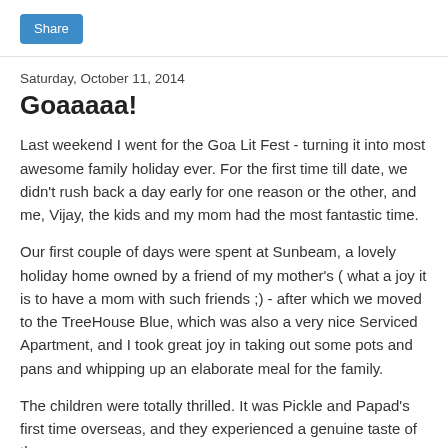[Figure (other): Blue 'Share' button in top-left corner]
Saturday, October 11, 2014
Goaaaaa!
Last weekend I went for the Goa Lit Fest - turning it into most awesome family holiday ever. For the first time till date, we didn't rush back a day early for one reason or the other, and me, Vijay, the kids and my mom had the most fantastic time.
Our first couple of days were spent at Sunbeam, a lovely holiday home owned by a friend of my mother's ( what a joy it is to have a mom with such friends ;) - after which we moved to the TreeHouse Blue, which was also a very nice Serviced Apartment, and I took great joy in taking out some pots and pans and whipping up an elaborate meal for the family.
The children were totally thrilled. It was Pickle and Papad's first time overseas, and they experienced a genuine taste of the